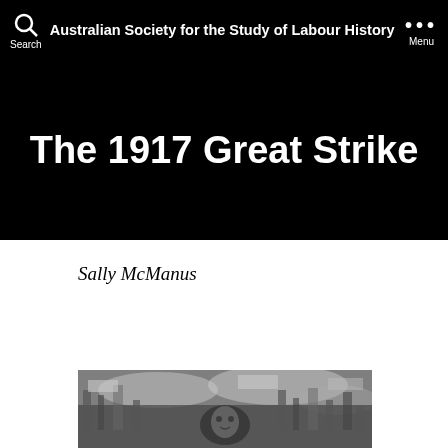Australian Society for the Study of Labour History
The 1917 Great Strike
Sally McManus
[Figure (photo): Black and white photograph of a crowd of people at what appears to be a protest or rally, with a person's face visible in the foreground among banners and signs.]